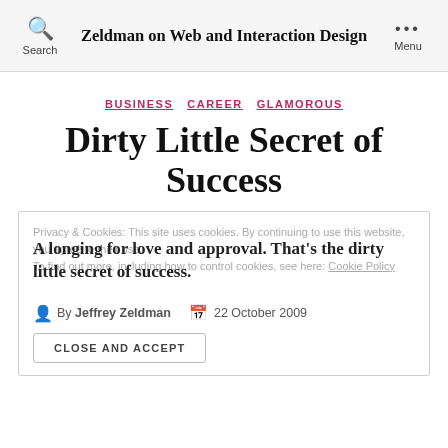Zeldman on Web and Interaction Design
BUSINESS  CAREER  GLAMOROUS
Dirty Little Secret of Success
Privacy & Cookies: This site uses cookies. By continuing to use this website, you agree to their use. To find out more, including how to control cookies, see here: Cookie Policy
A longing for love and approval. That's the dirty little secret of success.
By Jeffrey Zeldman  22 October 2009
CLOSE AND ACCEPT